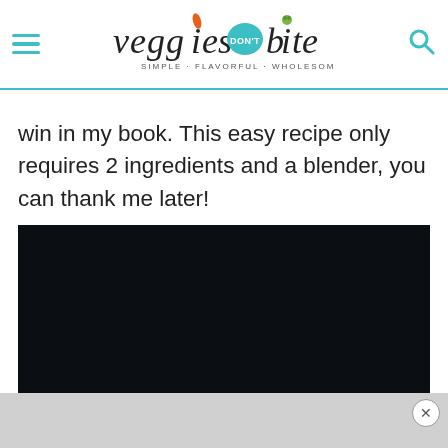veggies don't bite - SIMPLE · FLAVORFUL · WHOLESOME · PLANTS
win in my book. This easy recipe only requires 2 ingredients and a blender, you can thank me later!
[Figure (photo): Dark/black video thumbnail placeholder]
[Figure (screenshot): Gray advertisement bar with close (X) button]